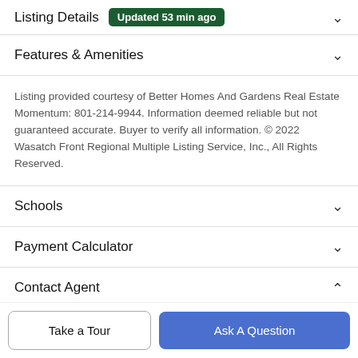Listing Details  Updated 53 min ago
Features & Amenities
Listing provided courtesy of Better Homes And Gardens Real Estate Momentum: 801-214-9944. Information deemed reliable but not guaranteed accurate. Buyer to verify all information. © 2022 Wasatch Front Regional Multiple Listing Service, Inc., All Rights Reserved.
Schools
Payment Calculator
Contact Agent
Take a Tour
Ask A Question